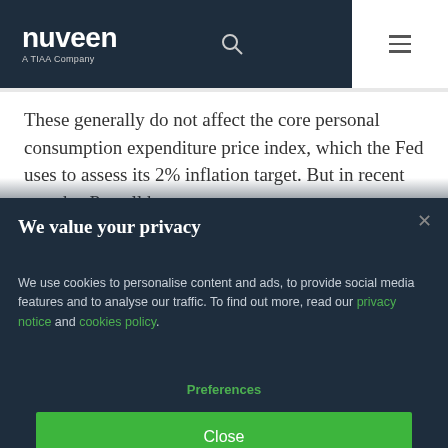nuveen — A TIAA Company
These generally do not affect the core personal consumption expenditure price index, which the Fed uses to assess its 2% inflation target. But in recent months, Powell has put more
We value your privacy
We use cookies to personalise content and ads, to provide social media features and to analyse our traffic. To find out more, read our privacy notice and cookies policy.
Preferences
Close